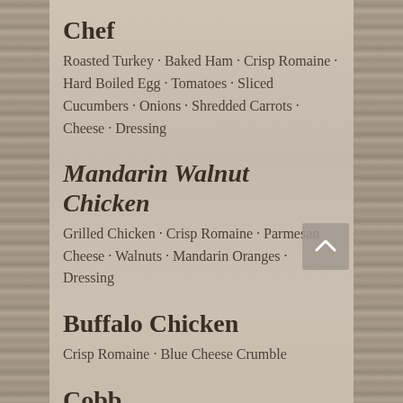Chef
Roasted Turkey · Baked Ham · Crisp Romaine · Hard Boiled Egg · Tomatoes · Sliced Cucumbers · Onions · Shredded Carrots · Cheese · Dressing
Mandarin Walnut Chicken
Grilled Chicken · Crisp Romaine · Parmesan Cheese · Walnuts · Mandarin Oranges · Dressing
Buffalo Chicken
Crisp Romaine · Blue Cheese Crumble
Cobb
Grilled Chicken · Bacon · Crisp Romaine ·